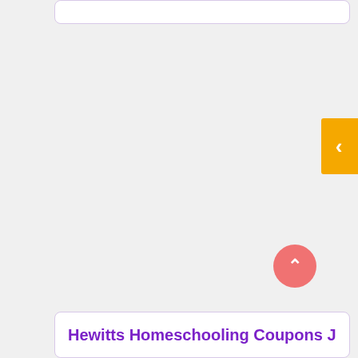[Figure (screenshot): Top portion of a card/panel with rounded border, partially visible at the top of the page]
[Figure (other): Orange back/previous navigation button with a left-pointing chevron on the right edge of the page]
[Figure (other): Coral/salmon colored circular scroll-to-top button with an upward-pointing chevron]
Hewitts Homeschooling Coupons July...